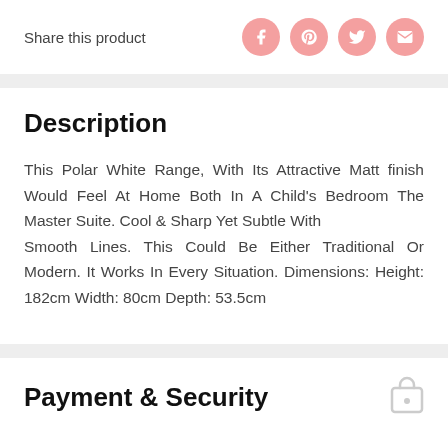Share this product
[Figure (infographic): Four circular social sharing icons (Facebook, Pinterest, Twitter, Email) in pink/salmon color]
Description
This Polar White Range, With Its Attractive Matt finish Would Feel At Home Both In A Child's Bedroom The Master Suite. Cool & Sharp Yet Subtle With Smooth Lines. This Could Be Either Traditional Or Modern. It Works In Every Situation. Dimensions: Height: 182cm Width: 80cm Depth: 53.5cm
Payment & Security